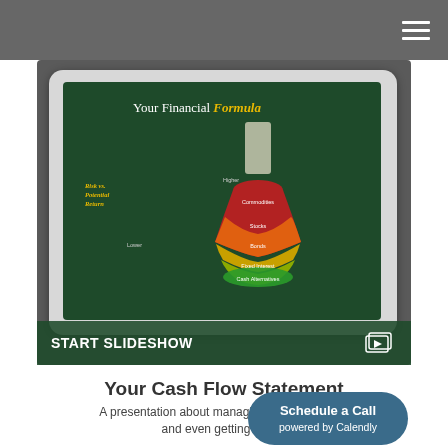[Figure (screenshot): A tablet screen displaying a financial slideshow titled 'Your Financial Formula' with a flask/beaker diagram showing Risk vs. Potential Return with layers labeled: Commodities, Stocks, Bonds, Fixed Interest, Cash Alternatives. Hands are holding the tablet against a blurred outdoor background.]
START SLIDESHOW
Your Cash Flow Statement
A presentation about managing money, saving, and even getting credit.
Schedule a Call
powered by Calendly